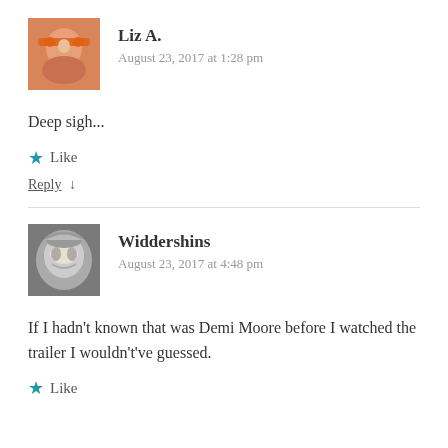[Figure (photo): Avatar of Liz A. - person with orange face paint]
Liz A.
August 23, 2017 at 1:28 pm
Deep sigh...
★ Like
Reply ↓
[Figure (photo): Avatar of Widdershins - person wearing a decorative mask]
Widdershins
August 23, 2017 at 4:48 pm
If I hadn't known that was Demi Moore before I watched the trailer I wouldn't've guessed.
★ Like